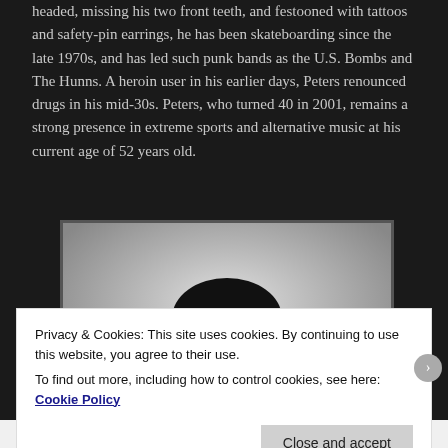headed, missing his two front teeth, and festooned with tattoos and safety-pin earrings, he has been skateboarding since the late 1970s, and has led such punk bands as the U.S. Bombs and The Hunns. A heroin user in his earlier days, Peters renounced drugs in his mid-30s. Peters, who turned 40 in 2001, remains a strong presence in extreme sports and alternative music at his current age of 52 years old.
[Figure (photo): Portrait photo of a man wearing a black cap with 'OTI' text, looking slightly downward, photographed against a light gradient background. The image is framed with a dark border.]
Privacy & Cookies: This site uses cookies. By continuing to use this website, you agree to their use.
To find out more, including how to control cookies, see here: Cookie Policy